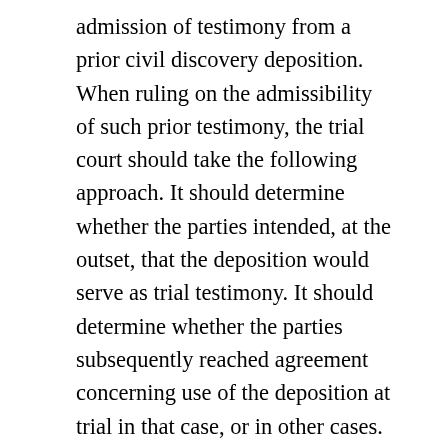admission of testimony from a prior civil discovery deposition. When ruling on the admissibility of such prior testimony, the trial court should take the following approach. It should determine whether the parties intended, at the outset, that the deposition would serve as trial testimony. It should determine whether the parties subsequently reached agreement concerning use of the deposition at trial in that case, or in other cases. Other key practical considerations are the timing of the deposition within the context of the litigation and special circumstances creating an incentive for cross-examination; the relationship of the deponent and the opposing party, the anticipated availability of the deponent at trial in the proceeding in which the deposition was taken